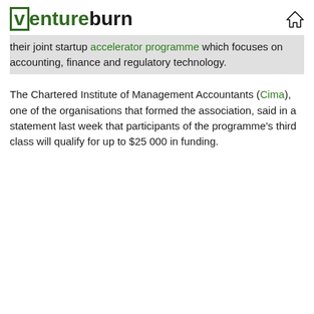ventureburn
their joint startup accelerator programme which focuses on accounting, finance and regulatory technology.
The Chartered Institute of Management Accountants (Cima), one of the organisations that formed the association, said in a statement last week that participants of the programme's third class will qualify for up to $25 000 in funding.